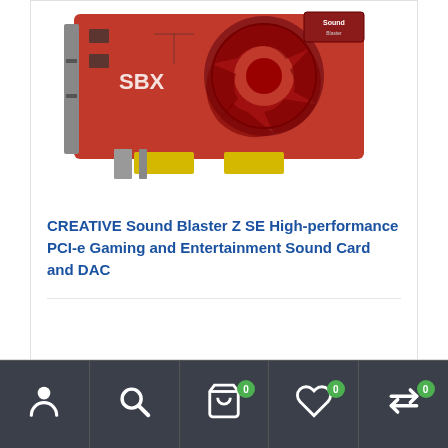[Figure (photo): Creative Sound Blaster Z SE red PCIe sound card with SBX branding and circular heatsink]
CREATIVE Sound Blaster Z SE High-performance PCI-e Gaming and Entertainment Sound Card and DAC
[Figure (infographic): Bottom navigation bar with icons: user/account, search, shopping cart (badge 0), wishlist/heart (badge 0), compare arrows (badge 0)]